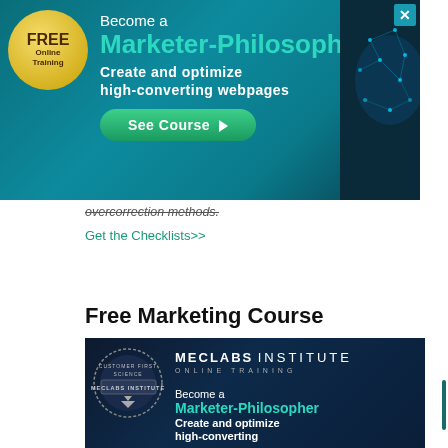[Figure (screenshot): Banner advertisement for MECLABS Institute 'Become a Marketer-Philosopher' free online training course with gold seal, teal text, and See Course button]
overcorrection methods.
Get the Checklists>>
Free Marketing Course
[Figure (screenshot): MECLABS Institute Online Training banner showing 'Become a Marketer-Philosopher - Create and optimize high-converting webpages' with institute logo/seal on dark navy background]